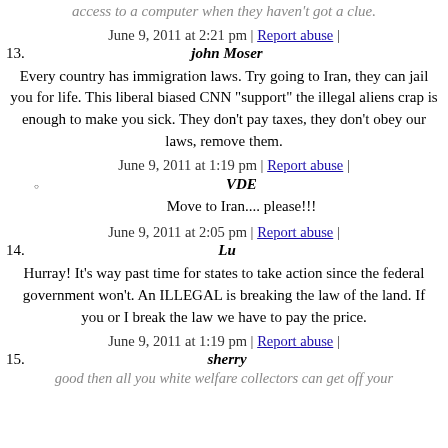access to a computer when they haven't got a clue.
June 9, 2011 at 2:21 pm | Report abuse |
13. john Moser
Every country has immigration laws. Try going to Iran, they can jail you for life. This liberal biased CNN "support" the illegal aliens crap is enough to make you sick. They don't pay taxes, they don't obey our laws, remove them.
June 9, 2011 at 1:19 pm | Report abuse |
VDE
Move to Iran.... please!!!
June 9, 2011 at 2:05 pm | Report abuse |
14. Lu
Hurray! It's way past time for states to take action since the federal government won't. An ILLEGAL is breaking the law of the land. If you or I break the law we have to pay the price.
June 9, 2011 at 1:19 pm | Report abuse |
15. sherry
good then all you white welfare collectors can get off your